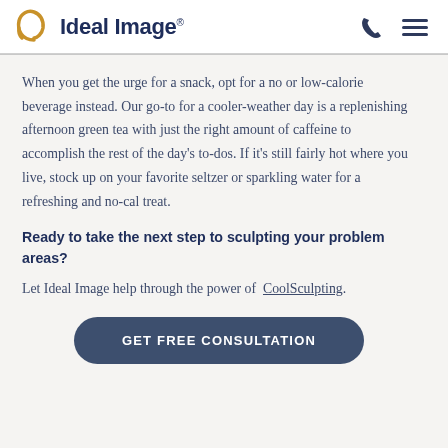Ideal Image
When you get the urge for a snack, opt for a no or low-calorie beverage instead. Our go-to for a cooler-weather day is a replenishing afternoon green tea with just the right amount of caffeine to accomplish the rest of the day's to-dos. If it's still fairly hot where you live, stock up on your favorite seltzer or sparkling water for a refreshing and no-cal treat.
Ready to take the next step to sculpting your problem areas?
Let Ideal Image help through the power of CoolSculpting.
GET FREE CONSULTATION